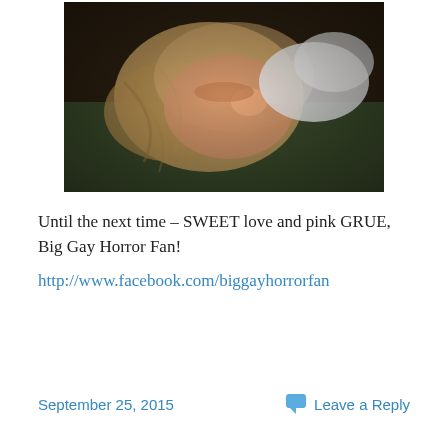[Figure (photo): Blurry photo of a person with blonde hair lying down, eyes closed, wearing a white shirt, against a dark greenish background.]
Until the next time – SWEET love and pink GRUE, Big Gay Horror Fan!
http://www.facebook.com/biggayhorrorfan
September 25, 2015
Leave a Reply